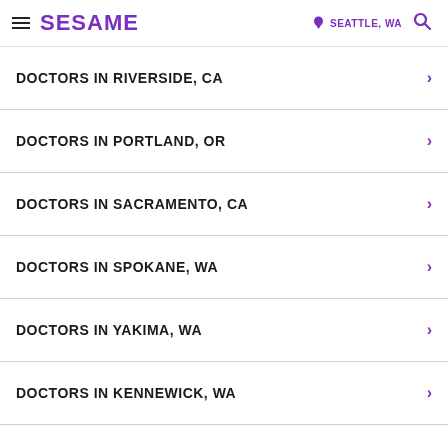SESAME | SEATTLE, WA
DOCTORS IN RIVERSIDE, CA
DOCTORS IN PORTLAND, OR
DOCTORS IN SACRAMENTO, CA
DOCTORS IN SPOKANE, WA
DOCTORS IN YAKIMA, WA
DOCTORS IN KENNEWICK, WA